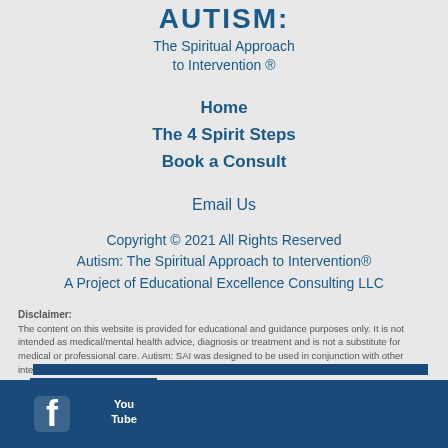AUTISM: The Spiritual Approach to Intervention ®
Home
The 4 Spirit Steps
Book a Consult
Email Us
Copyright © 2021 All Rights Reserved Autism: The Spiritual Approach to Intervention® A Project of Educational Excellence Consulting LLC
Disclaimer: The content on this website is provided for educational and guidance purposes only. It is not intended as medical/mental health advice, diagnosis or treatment and is not a substitute for medical or professional care. Autism: SAI was designed to be used in conjunction with other interventions and professional care. The content is intended for informational purposes only and is i...
[Figure (logo): Facebook and YouTube social media icons on dark blue bar at bottom of page]